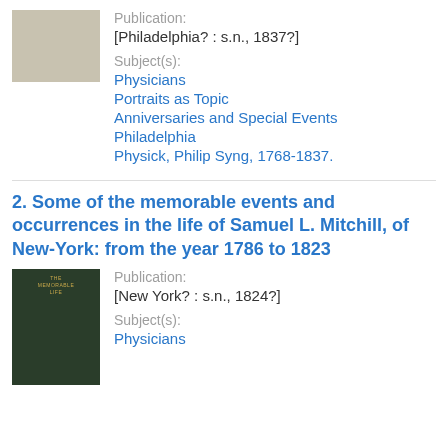[Figure (photo): Thumbnail of a book cover, beige/tan color]
Publication:
[Philadelphia? : s.n., 1837?]
Subject(s):
Physicians
Portraits as Topic
Anniversaries and Special Events
Philadelphia
Physick, Philip Syng, 1768-1837.
2. Some of the memorable events and occurrences in the life of Samuel L. Mitchill, of New-York: from the year 1786 to 1823
[Figure (photo): Thumbnail of a dark green book cover]
Publication:
[New York? : s.n., 1824?]
Subject(s):
Physicians